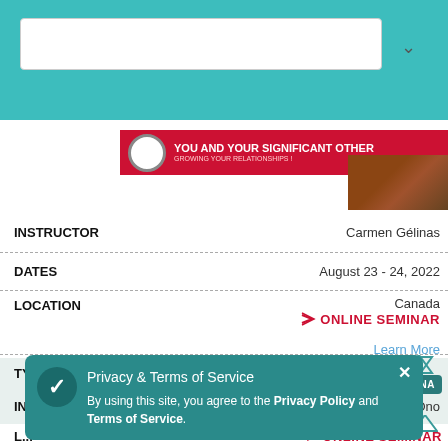[Figure (screenshot): Teal header bar with white search/dropdown box]
[Figure (illustration): You and Your Significant Other course banner in red with icon and couple photo]
| Field | Value |
| --- | --- |
| INSTRUCTOR | Carmen Gélinas |
| DATES | August 23 - 24, 2022 |
| LOCATION | Canada / ONLINE SEMINAR |
Learn More
[Figure (illustration): Advanced DNA course badge with teal DNA graphic]
| Field | Value |
| --- | --- |
| TYPE | ADVANCED DNA |
| INSTRUCTOR | Kazue Ono |
| DATES | 2022 |
| LOCATION | Japan / ONLINE SEMINAR |
Privacy & Terms of Service
By using this site, you agree to the Privacy Policy and Terms of Service.